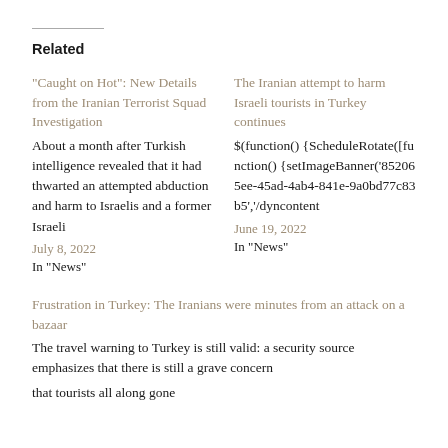Related
“Caught on Hot”: New Details from the Iranian Terrorist Squad Investigation
About a month after Turkish intelligence revealed that it had thwarted an attempted abduction and harm to Israelis and a former Israeli
July 8, 2022
In “News”
The Iranian attempt to harm Israeli tourists in Turkey continues
$(function() {ScheduleRotate([function() {setImageBanner('852065ee-45ad-4ab4-841e-9a0bd77c83b5','/dyncontent
June 19, 2022
In “News”
Frustration in Turkey: The Iranians were minutes from an attack on a bazaar
The travel warning to Turkey is still valid: a security source emphasizes that there is still a grave concern that tourists all along gone